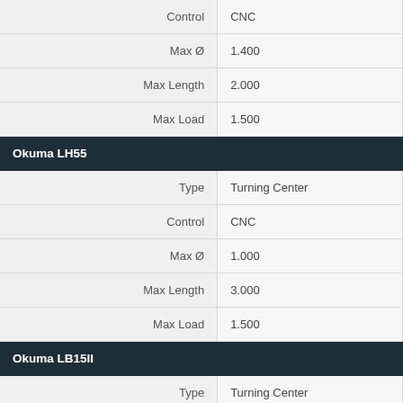| Attribute | Value |
| --- | --- |
| Control | CNC |
| Max Ø | 1.400 |
| Max Length | 2.000 |
| Max Load | 1.500 |
| Okuma LH55 |  |
| Type | Turning Center |
| Control | CNC |
| Max Ø | 1.000 |
| Max Length | 3.000 |
| Max Load | 1.500 |
| Okuma LB15II |  |
| Type | Turning Center |